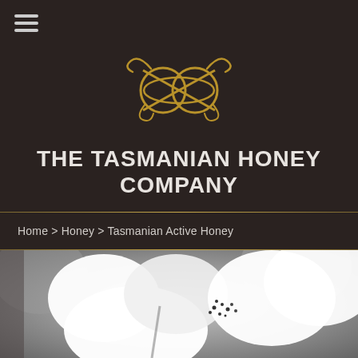[Figure (logo): The Tasmanian Honey Company golden bee logo on dark background]
THE TASMANIAN HONEY COMPANY
Home > Honey > Tasmanian Active Honey
[Figure (photo): Black and white close-up photo of white flowers with stamens visible]